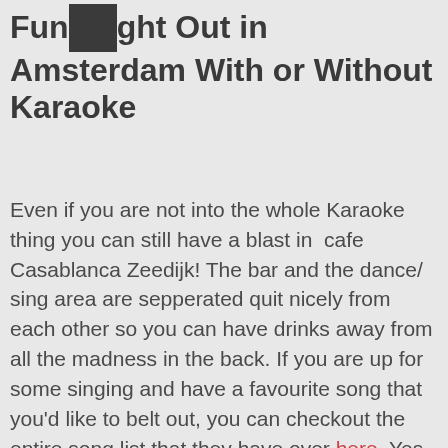Fun Night Out in Amsterdam With or Without Karaoke
Even if you are not into the whole Karaoke thing you can still have a blast in  cafe Casablanca Zeedijk! The bar and the dance/ sing area are sepperated quit nicely from each other so you can have drinks away from all the madness in the back. If you are up for some singing and have a favourite song that you'd like to belt out, you can checkout the entire song list that they have over here. Yes, they do have Whitney Houston for if you want to go all out.